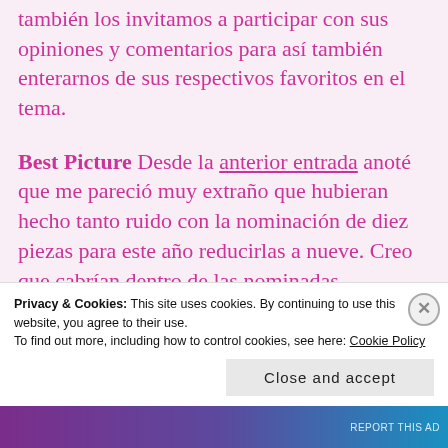también los invitamos a participar con sus opiniones y comentarios para así también enterarnos de sus respectivos favoritos en el tema.
Best Picture Desde la anterior entrada anoté que me pareció muy extraño que hubieran hecho tanto ruido con la nominación de diez piezas para este año reducirlas a nueve. Creo que cabrían dentro de las nominadas Beginners ,
Privacy & Cookies: This site uses cookies. By continuing to use this website, you agree to their use.
To find out more, including how to control cookies, see here: Cookie Policy
Close and accept